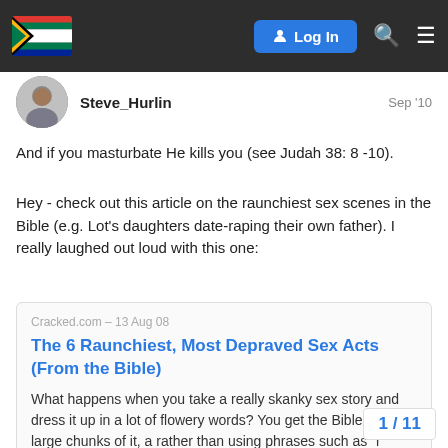[Figure (screenshot): Website navigation bar with South Africa flag logo, Log In button, search icon, and hamburger menu on dark background]
Steve_Hurlin
Sep '10
And if you masturbate He kills you (see Judah 38: 8 -10).
Hey - check out this article on the raunchiest sex scenes in the Bible (e.g. Lot's daughters date-raping their own father). I really laughed out loud with this one:
Cracked.com – 13 Aug 08
The 6 Raunchiest, Most Depraved Sex Acts (From the Bible)
What happens when you take a really skanky sex story and dress it up in a lot of flowery words? You get the Bible. Or large chunks of it, a rather than using phrases such as "r
1 / 11